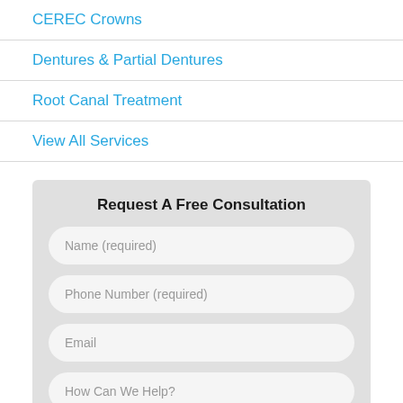CEREC Crowns
Dentures & Partial Dentures
Root Canal Treatment
View All Services
Request A Free Consultation
Name (required)
Phone Number (required)
Email
How Can We Help?
SUBMIT REQUEST